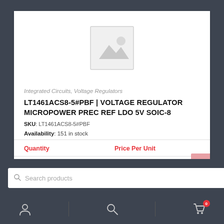[Figure (illustration): Placeholder image icon — grey mountain/landscape silhouette with sun, typical product image placeholder]
Integrated Circuits, Voltage Regulators
LT1461ACS8-5#PBF | VOLTAGE REGULATOR MICROPOWER PREC REF LDO 5V SOIC-8
SKU: LT1461ACS8-5#PBF
Availability: 151 in stock
| Quantity | Price Per Unit |
| --- | --- |
| 1+ | 12.15 ExclGST |